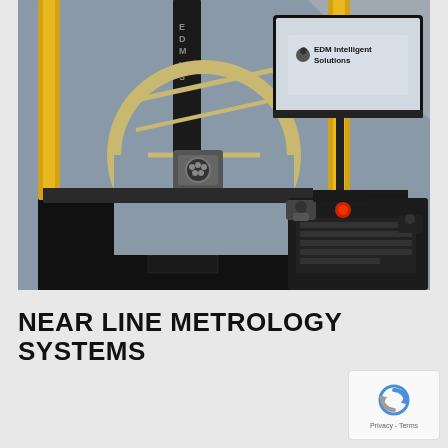[Figure (photo): Coordinate measuring machine (CMM) by EDM Intelligent Solutions — a large black measurement instrument with yellow vertical guide columns, a semi-circular frame, a measuring head, and a keyboard/joystick control console. A monitor on the right displays the EDM Intelligent Solutions logo.]
NEAR LINE METROLOGY SYSTEMS